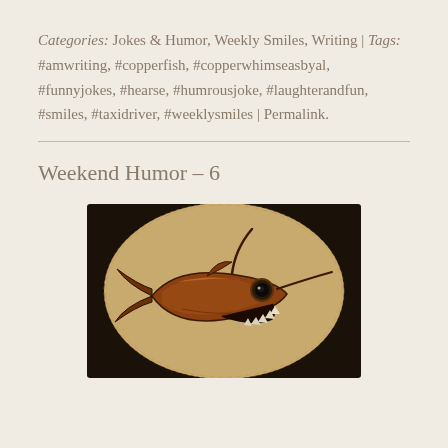Categories: Jokes & Humor, Weekly Smiles, Writing | Tags: #amwriting, #copperfish, #copperwhimseasbyal, #funnyjokes, #hearse, #humrousjoke, #laughterandfun, #smiles, #taxidriver, #weeklysmiles | Permalink.
Weekend Humor – 6
[Figure (photo): A copper fish sculpture with jagged white teeth, a round eye, and antenna-like protrusions, displayed on a circular woven background in dark setting.]